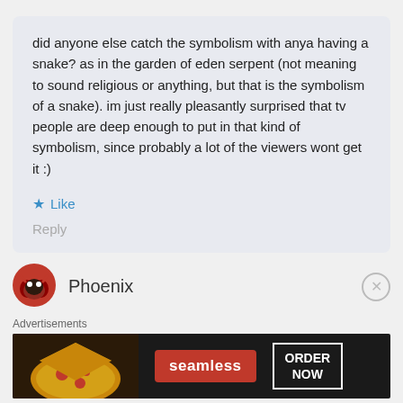did anyone else catch the symbolism with anya having a snake? as in the garden of eden serpent (not meaning to sound religious or anything, but that is the symbolism of a snake). im just really pleasantly surprised that tv people are deep enough to put in that kind of symbolism, since probably a lot of the viewers wont get it :)
Like
Reply
Phoenix
[Figure (screenshot): Seamless food delivery advertisement banner with pizza image, seamless logo in red, and ORDER NOW button]
Advertisements